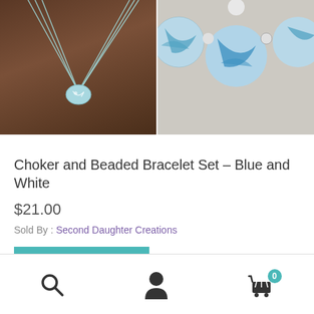[Figure (photo): Two product photos side by side: left shows a light blue cord choker necklace with a blue-and-white marbled bead pendant on a dark background; right shows a close-up of large blue-and-white marbled ceramic/acrylic beads on a light surface.]
Choker and Beaded Bracelet Set – Blue and White
$21.00
Sold By : Second Daughter Creations
Buy It Now
Navigation bar with search, account, and cart (0) icons